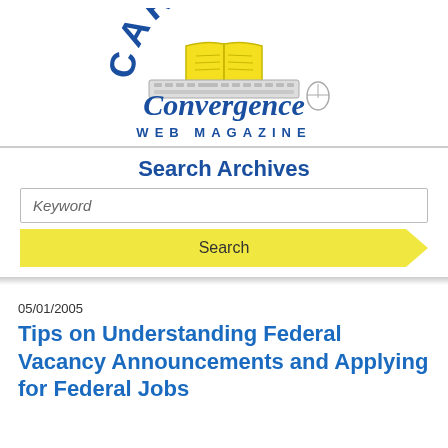[Figure (logo): Career Convergence Web Magazine logo with open book on laptop and mouse, blue and yellow colors]
Search Archives
Keyword
Search
05/01/2005
Tips on Understanding Federal Vacancy Announcements and Applying for Federal Jobs